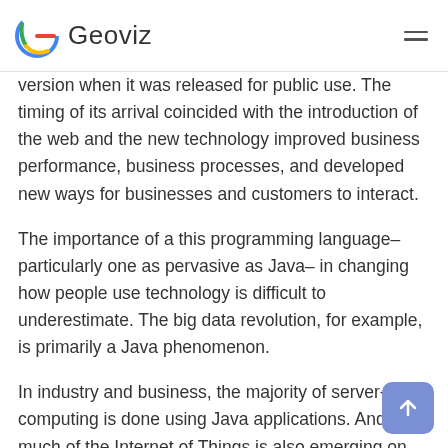Geoviz
version when it was released for public use. The timing of its arrival coincided with the introduction of the web and the new technology improved business performance, business processes, and developed new ways for businesses and customers to interact.
The importance of a this programming language– particularly one as pervasive as Java– in changing how people use technology is difficult to underestimate. The big data revolution, for example, is primarily a Java phenomenon.
In industry and business, the majority of server-side computing is done using Java applications. And much of the Internet of Things is also emerging on Java devices. However 20 years earlier, the language